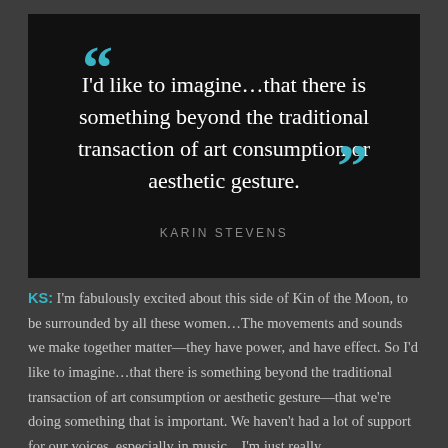[Figure (other): Dark quote card with teal quotation marks showing a pull quote by Karin Stevens: I'd like to imagine...that there is something beyond the traditional transaction of art consumption or aesthetic gesture.]
KS: I'm fabulously excited about this side of Kin of the Moon, to be surrounded by all these women…The movements and sounds we make together matter—they have power, and have effect. So I'd like to imagine…that there is something beyond the traditional transaction of art consumption or aesthetic gesture—that we're doing something that is important. We haven't had a lot of support for our voices, especially in music…I'm just really